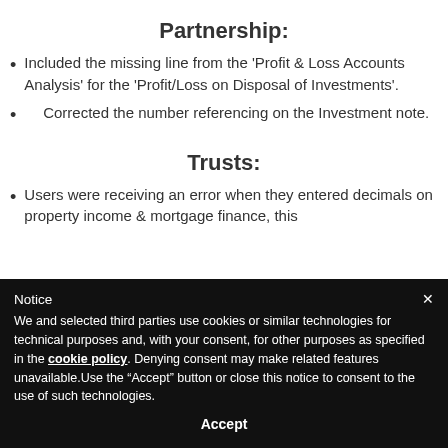Partnership:
Included the missing line from the 'Profit & Loss Accounts Analysis' for the 'Profit/Loss on Disposal of Investments'.
Corrected the number referencing on the Investment note.
Trusts:
Users were receiving an error when they entered decimals on property income & mortgage finance, this
Notice
We and selected third parties use cookies or similar technologies for technical purposes and, with your consent, for other purposes as specified in the cookie policy. Denying consent may make related features unavailable.Use the “Accept” button or close this notice to consent to the use of such technologies.
Accept